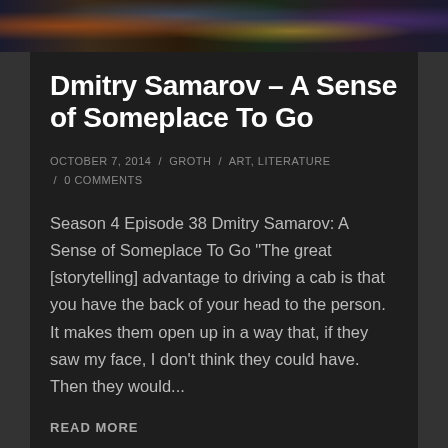[Figure (photo): Colorful artistic banner image at top of page, appears to show artwork or illustrations with vibrant colors on dark background]
Dmitry Samarov – A Sense of Someplace To Go
OCTOBER 7, 2014 / GROTH / ART, LITERATURE / 0 COMMENTS
Season 4 Episode 38 Dmitry Samarov: A Sense of Someplace To Go "The great [storytelling] advantage to driving a cab is that you have the back of your head to the person. It makes them open up in a way that, if they saw my face, I don't think they could have. Then they would...
READ MORE